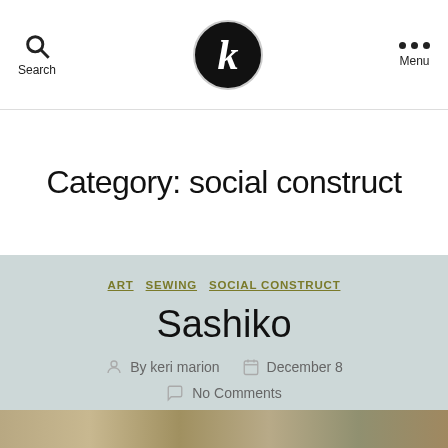Search  [logo K]  Menu
Category: social construct
ART  SEWING  SOCIAL CONSTRUCT
Sashiko
By keri marion   December 8   No Comments
[Figure (photo): Bottom image strip showing a natural/outdoor scene]